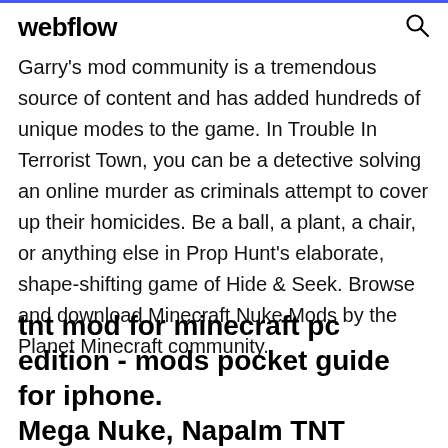webflow
Garry's mod community is a tremendous source of content and has added hundreds of unique modes to the game. In Trouble In Terrorist Town, you can be a detective solving an online murder as criminals attempt to cover up their homicides. Be a ball, a plant, a chair, or anything else in Prop Hunt's elaborate, shape-shifting game of Hide & Seek. Browse and download Minecraft Nuke Mods by the Planet Minecraft community.
tnt mod for minecraft pc edition - mods pocket guide for iphone. Mega Nuke, Napalm TNT